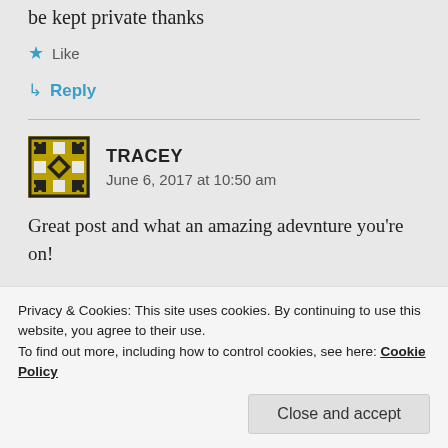be kept private thanks
★ Like
↳ Reply
TRACEY
June 6, 2017 at 10:50 am
Great post and what an amazing adevnture you're on!
Privacy & Cookies: This site uses cookies. By continuing to use this website, you agree to their use.
To find out more, including how to control cookies, see here: Cookie Policy
Close and accept